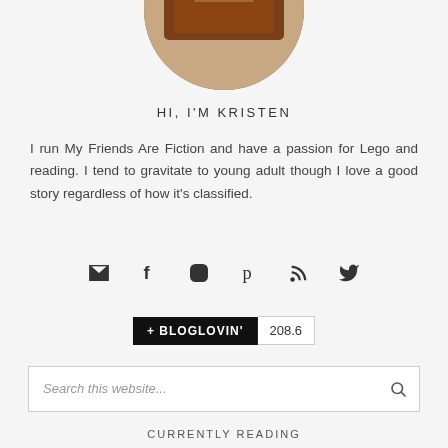[Figure (photo): Circular cropped profile photo showing a person holding a book with a brown/orange cover]
HI, I'M KRISTEN
I run My Friends Are Fiction and have a passion for Lego and reading. I tend to gravitate to young adult though I love a good story regardless of how it's classified.
[Figure (infographic): Row of social media icons: envelope (email), Facebook, Instagram, Pinterest, RSS, Twitter]
[Figure (infographic): Bloglovin follow button badge showing '+ BLOGLOVIN'' with count 208.6]
Search this website...
CURRENTLY READING